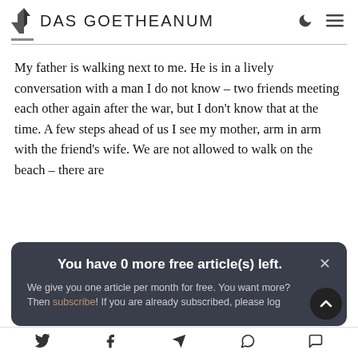DAS GOETHEANUM
My father is walking next to me. He is in a lively conversation with a man I do not know – two friends meeting each other again after the war, but I don't know that at the time. A few steps ahead of us I see my mother, arm in arm with the friend's wife. We are not allowed to walk on the beach – there are
You have 0 more free article(s) left.

We give you one article per month for free. You want more? Then subscribe! If you are already subscribed, please log